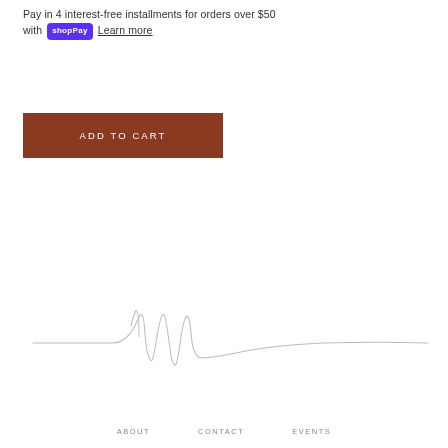Pay in 4 interest-free installments for orders over $50 with shopPay Learn more
[Figure (other): ADD TO CART button — a rust/brown rectangular button with white uppercase letter-spaced text]
[Figure (other): Decorative handwritten-style signature line / squiggle divider across the page]
ABOUT   CONTACT   EVENTS